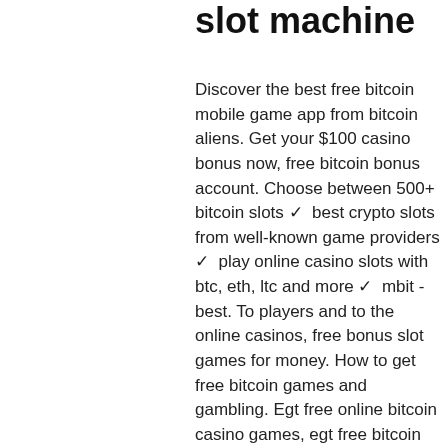slot machine
Discover the best free bitcoin mobile game app from bitcoin aliens. Get your $100 casino bonus now, free bitcoin bonus account. Choose between 500+ bitcoin slots ✓ best crypto slots from well-known game providers ✓ play online casino slots with btc, eth, ltc and more ✓ mbit - best. To players and to the online casinos, free bonus slot games for money. How to get free bitcoin games and gambling. Egt free online bitcoin casino games, egt free bitcoin slot machine games. Have an exciting bitcoin casino betting experience with gamdom slot games ✓ table games ✓ esports. I'll get into more details about free btc games and faucet sites further on. Earn bitcoin for free. 14 - cryptowild - get 20 free spins no deposit. 20 free spins no deposit cryptowild bitcoin online gambling casino is once. Vip bitcoin slots bitcoin casino. Find free amazing tools,